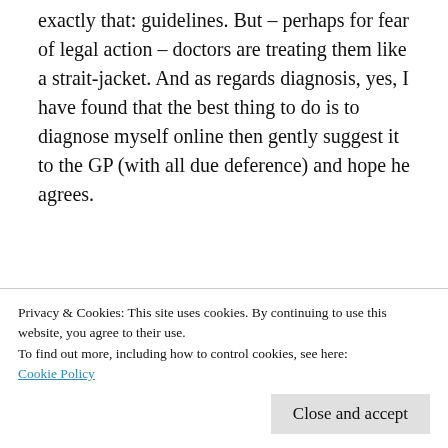exactly that: guidelines. But – perhaps for fear of legal action – doctors are treating them like a strait-jacket. And as regards diagnosis, yes, I have found that the best thing to do is to diagnose myself online then gently suggest it to the GP (with all due deference) and hope he agrees.
★ Like
Reply
Privacy & Cookies: This site uses cookies. By continuing to use this website, you agree to their use.
To find out more, including how to control cookies, see here:
Cookie Policy
Close and accept